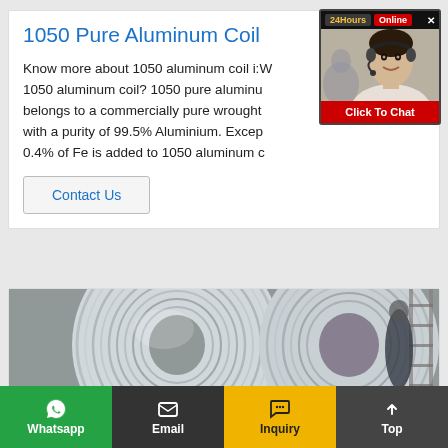1050 Pure Aluminum Coil
Know more about 1050 aluminum coil i:W 1050 aluminum coil? 1050 pure aluminu belongs to a commercially pure wrought with a purity of 99.5% Aluminium. Excep 0.4% of Fe is added to 1050 aluminum c
[Figure (screenshot): 24Hours Online chat widget with a customer service representative photo and Click To Chat button]
[Figure (photo): Large roll of aluminum coil in an industrial setting]
Whatsapp | Email | Inquiry | Top